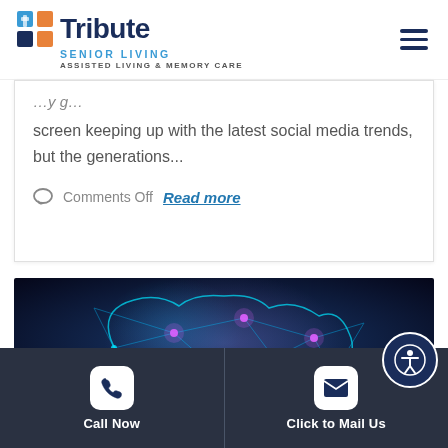[Figure (logo): Tribute Senior Living logo with colorful grid icon, dark navy text, blue SENIOR LIVING subtitle, and ASSISTED LIVING & MEMORY CARE tagline]
screen keeping up with the latest social media trends, but the generations...
Comments Off  Read more
[Figure (illustration): Glowing blue neural network / brain illustration on dark blue background]
Call Now   Click to Mail Us